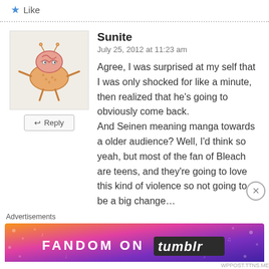★ Like
Sunite
July 25, 2012 at 11:23 am
Agree, I was surprised at my self that I was only shocked for like a minute, then realized that he's going to obviously come back. And Seinen meaning manga towards a older audience? Well, I'd think so yeah, but most of the fan of Bleach are teens, and they're going to love this kind of violence so not going to be a big change…

I realllly wanted to see Renji's Bankai, I think
Advertisements
[Figure (infographic): FANDOM ON tumblr advertisement banner with colorful gradient background]